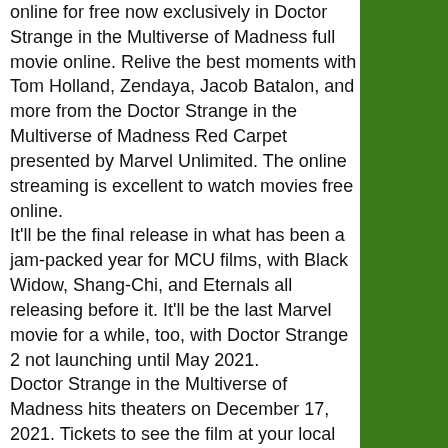online for free now exclusively in Doctor Strange in the Multiverse of Madness full movie online. Relive the best moments with Tom Holland, Zendaya, Jacob Batalon, and more from the Doctor Strange in the Multiverse of Madness Red Carpet presented by Marvel Unlimited. The online streaming is excellent to watch movies free online.
It'll be the final release in what has been a jam-packed year for MCU films, with Black Widow, Shang-Chi, and Eternals all releasing before it. It'll be the last Marvel movie for a while, too, with Doctor Strange 2 not launching until May 2021.
Doctor Strange in the Multiverse of Madness hits theaters on December 17, 2021. Tickets to see the film at your local movie theater are available online here. The film is being released in a wide release so you can watch it in person.